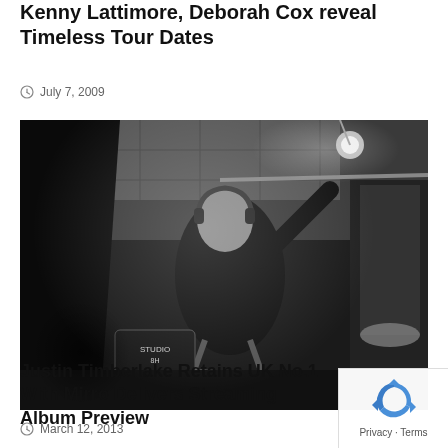Kenny Lattimore, Deborah Cox reveal Timeless Tour Dates
July 7, 2009
[Figure (photo): Black and white photo of a man in a dark suit wearing headphones, posing on a ladder in what appears to be a studio or backstage setting with lighting equipment and mirrors. A 'Studio 8H Closed Set No Distance' sign is visible in the lower left.]
Justin Timberlake Retains UK No.1 With Mirro Delivers Streaming Album Preview
March 12, 2013